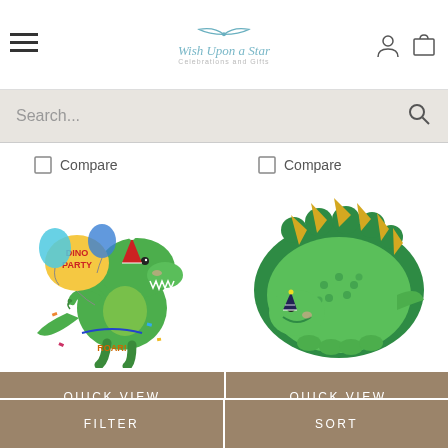Wish Upon a Star - website header with hamburger menu, logo, account and cart icons
Search...
Compare
Compare
[Figure (illustration): Green T-Rex dinosaur with party hat holding a balloon that says DINO PARTY, cartoon style]
[Figure (illustration): Green stegosaurus dinosaur shaped plate/tray with gold spikes and party hat, cartoon style]
QUICK VIEW
QUICK VIEW
FILTER
SORT